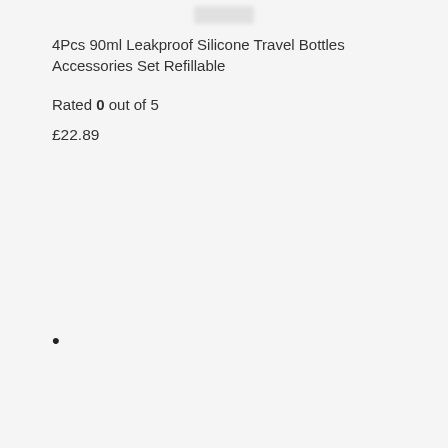[Figure (photo): Blurred/partially visible product image of travel bottles at the top of the page]
4Pcs 90ml Leakproof Silicone Travel Bottles Accessories Set Refillable
Rated 0 out of 5
£22.89